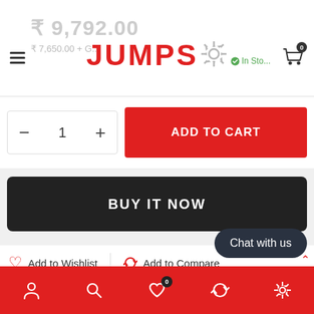JUMPS - ₹9,792.00 / ₹7,650.00 + GST - In Stock
- 1 + ADD TO CART
BUY IT NOW
Add to Wishlist | Add to Compare
Category: Armature
[Figure (infographic): Fast Delivery icon (truck) and award/quality icon]
FAST DELIVERY
Chat with us
Bottom navigation bar with user, search, wishlist (0), refresh, settings icons